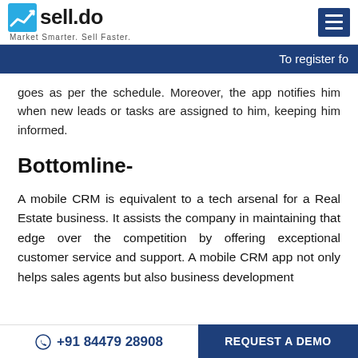sell.do — Market Smarter. Sell Faster.
To register fo
goes as per the schedule. Moreover, the app notifies him when new leads or tasks are assigned to him, keeping him informed.
Bottomline-
A mobile CRM is equivalent to a tech arsenal for a Real Estate business. It assists the company in maintaining that edge over the competition by offering exceptional customer service and support. A mobile CRM app not only helps sales agents but also business development
+91 84479 28908 | REQUEST A DEMO